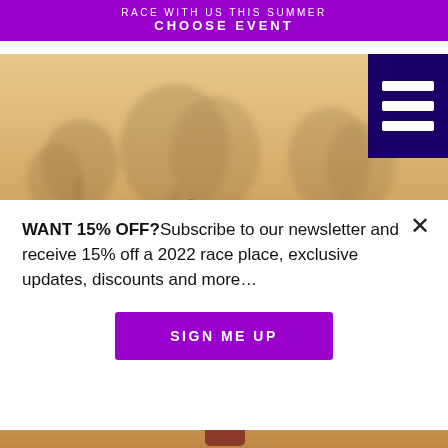RACE WITH US THIS SUMMER
CHOOSE EVENT
[Figure (photo): Misty outdoor landscape with trees in foggy warm light, people visible in distance]
[Figure (other): Dark navy hamburger menu icon with three white horizontal bars]
WANT 15% OFF?Subscribe to our newsletter and receive 15% off a 2022 race place, exclusive updates, discounts and more…
SIGN ME UP
[Figure (photo): Person in athletic wear standing on sandy ground, warm toned light]